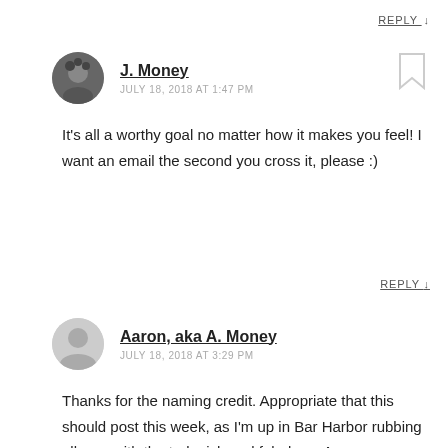REPLY ↓
J. Money
JULY 18, 2018 AT 1:47 PM
It's all a worthy goal no matter how it makes you feel! I want an email the second you cross it, please :)
REPLY ↓
Aaron, aka A. Money
JULY 18, 2018 AT 3:29 PM
Thanks for the naming credit. Appropriate that this should post this week, as I'm up in Bar Harbor rubbing elbows with the truly rich and fabulous. A